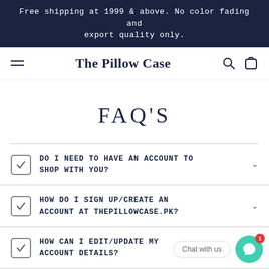Free shipping at 1999 & above. No color fading and export quality only.
The Pillow Case
FAQ'S
DO I NEED TO HAVE AN ACCOUNT TO SHOP WITH YOU?
HOW DO I SIGN UP/CREATE AN ACCOUNT AT THEPILLOWCASE.PK?
HOW CAN I EDIT/UPDATE MY ACCOUNT DETAILS?